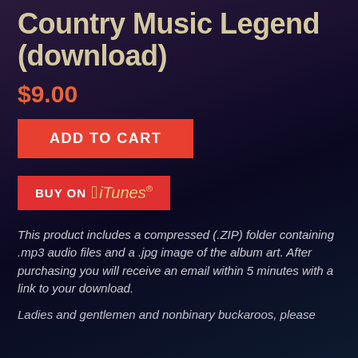Country Music Legend (download)
$9.00
[Figure (other): Red 'ADD TO CART' button]
[Figure (other): Red 'BUY ON iTunes' button with Apple logo]
This product includes a compressed (.ZIP) folder containing .mp3 audio files and a .jpg image of the album art. After purchasing you will receive an email within 5 minutes with a link to your download.
Ladies and gentlemen and nonbinary buckaroos, please